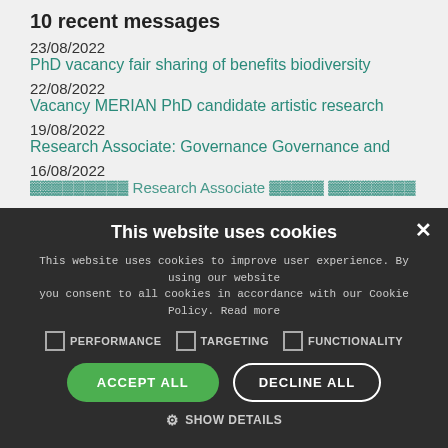10 recent messages
23/08/2022
PhD vacancy fair sharing of benefits biodiversity
22/08/2022
Vacancy MERIAN PhD candidate artistic research
19/08/2022
Research Associate: Governance Governance and
16/08/2022
[partially visible link text]
This website uses cookies
This website uses cookies to improve user experience. By using our website you consent to all cookies in accordance with our Cookie Policy. Read more
PERFORMANCE  TARGETING  FUNCTIONALITY
ACCEPT ALL  DECLINE ALL
SHOW DETAILS